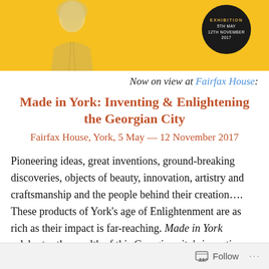[Figure (illustration): Yellow banner with a portrait illustration of a Georgian-era figure on the left, and a dark circular badge on the right reading 'Exhibition 5th May 12th November 2017']
Now on view at Fairfax House:
Made in York: Inventing & Enlightening the Georgian City
Fairfax House, York, 5 May — 12 November 2017
Pioneering ideas, great inventions, ground-breaking discoveries, objects of beauty, innovation, artistry and craftsmanship and the people behind their creation…. These products of York's age of Enlightenment are as rich as their impact is far-reaching. Made in York celebrates the wealth of this Georgian city's inventive and enlightened
Follow